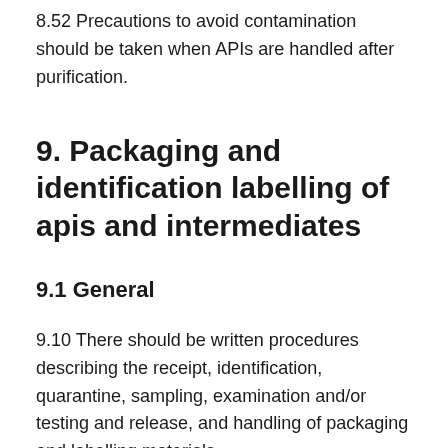8.52 Precautions to avoid contamination should be taken when APIs are handled after purification.
9. Packaging and identification labelling of apis and intermediates
9.1 General
9.10 There should be written procedures describing the receipt, identification, quarantine, sampling, examination and/or testing and release, and handling of packaging and labelling materials